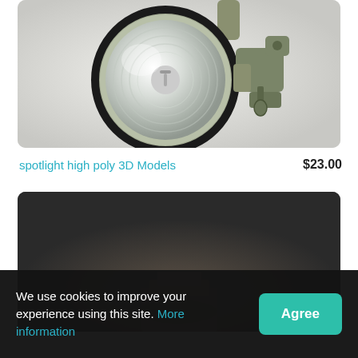[Figure (photo): Close-up photo of a spotlight high poly 3D model — a metallic circular lamp fixture with black ring and mounting bracket, on a light gray background]
spotlight high poly 3D Models    $23.00
[Figure (photo): Dark product image, partially visible, shown against a dark gray/black background]
We use cookies to improve your experience using this site. More information